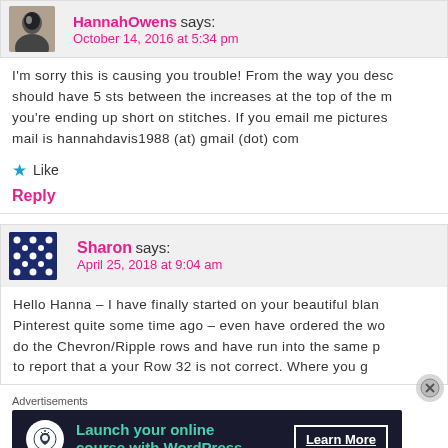[Figure (photo): Avatar photo of HannahOwens, black and white portrait]
HannahOwens says:
October 14, 2016 at 5:34 pm
I'm sorry this is causing you trouble! From the way you desc should have 5 sts between the increases at the top of the m you're ending up short on stitches. If you email me pictures mail is hannahdavis1988 (at) gmail (dot) com
★ Like
Reply
[Figure (illustration): Avatar icon for Sharon, dark blue with white stars/dots pattern]
Sharon says:
April 25, 2018 at 9:04 am
Hello Hanna – I have finally started on your beautiful blan Pinterest quite some time ago – even have ordered the wo do the Chevron/Ripple rows and have run into the same p to report that a your Row 32 is not correct. Where you g
Advertisements
[Figure (screenshot): Advertisement banner: dark background, Launch your online course with WordPress, Learn More button]